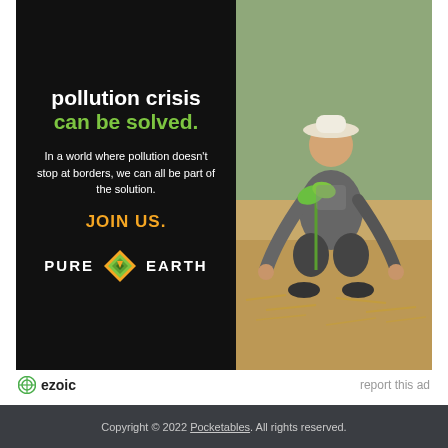[Figure (infographic): Pure Earth advertisement on black background. Left panel shows text: 'pollution crisis can be solved.' (headline in white and green), 'In a world where pollution doesn't stop at borders, we can all be part of the solution.' (body text in white), 'JOIN US.' (CTA in orange/gold), and Pure Earth logo with diamond icon. Right panel shows photo of a man planting a seedling outdoors.]
ezoic   report this ad
Copyright © 2022 Pocketables. All rights reserved.